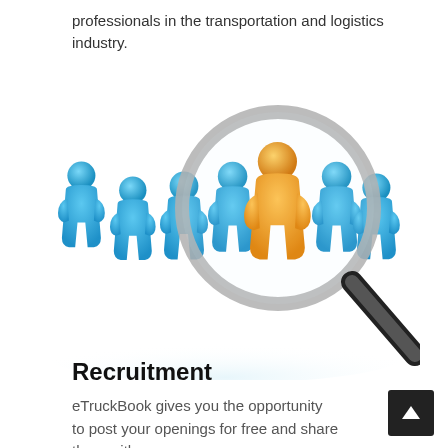professionals in the transportation and logistics industry.
[Figure (illustration): 3D illustration of a group of blue human figurines with one orange figurine in the center being highlighted by a magnifying glass, representing recruitment or talent selection.]
Recruitment
eTruckBook gives you the opportunity to post your openings for free and share them with groups.